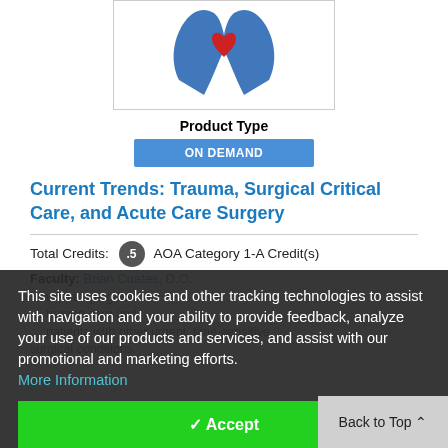[Figure (logo): Medical Association logo with blue hands and red heart symbol, circular text reading 'Medical Association']
Product Type
ON DEMAND
Current Trends: Trauma, Surgical Critical Care, and Acute Care Surgery
Total Credits: .5 AOA Category 1-A Credit(s)
Faculty: Brian Coates, D.O.
This site uses cookies and other tracking technologies to assist with navigation and your ability to provide feedback, analyze your use of our products and services, and assist with our promotional and marketing efforts.
More Information
Accept
Back to Top